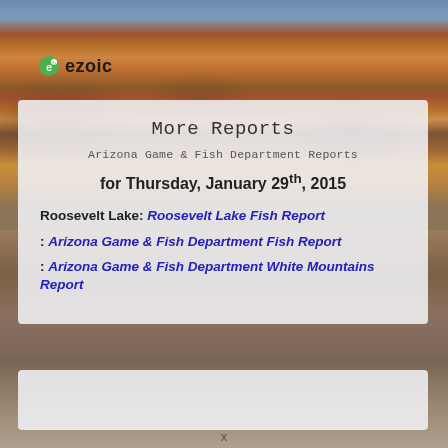[Figure (photo): Grand Canyon landscape background photo showing red rock canyon formations with blue sky]
ezoic
More Reports
Arizona Game & Fish Department Reports
for Thursday, January 29th, 2015
Roosevelt Lake: Roosevelt Lake Fish Report
: Arizona Game & Fish Department Fish Report
: Arizona Game & Fish Department White Mountains Report